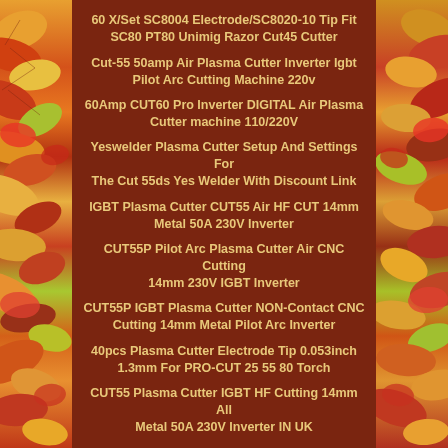[Figure (photo): Autumn leaves decorative border on left and right sides of the page with a dark brown center panel containing product listing text.]
60 X/Set SC8004 Electrode/SC8020-10 Tip Fit SC80 PT80 Unimig Razor Cut45 Cutter
Cut-55 50amp Air Plasma Cutter Inverter Igbt Pilot Arc Cutting Machine 220v
60Amp CUT60 Pro Inverter DIGITAL Air Plasma Cutter machine 110/220V
Yeswelder Plasma Cutter Setup And Settings For The Cut 55ds Yes Welder With Discount Link
IGBT Plasma Cutter CUT55 Air HF CUT 14mm Metal 50A 230V Inverter
CUT55P Pilot Arc Plasma Cutter Air CNC Cutting 14mm 230V IGBT Inverter
CUT55P IGBT Plasma Cutter NON-Contact CNC Cutting 14mm Metal Pilot Arc Inverter
40pcs Plasma Cutter Electrode Tip 0.053inch 1.3mm For PRO-CUT 25 55 80 Torch
CUT55 Plasma Cutter IGBT HF Cutting 14mm All Metal 50A 230V Inverter IN UK